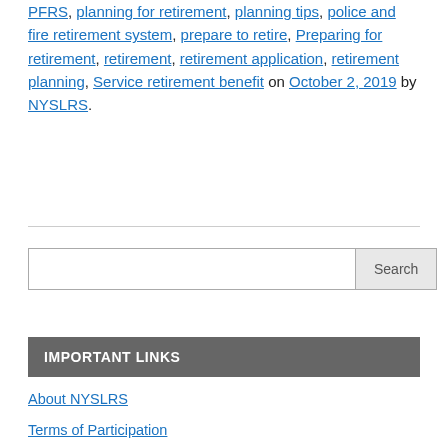PFRS, planning for retirement, planning tips, police and fire retirement system, prepare to retire, Preparing for retirement, retirement, retirement application, retirement planning, Service retirement benefit on October 2, 2019 by NYSLRS.
Search
IMPORTANT LINKS
About NYSLRS
Terms of Participation
Privacy Policy
Contact Us
NYSLRS Website
OSC Website